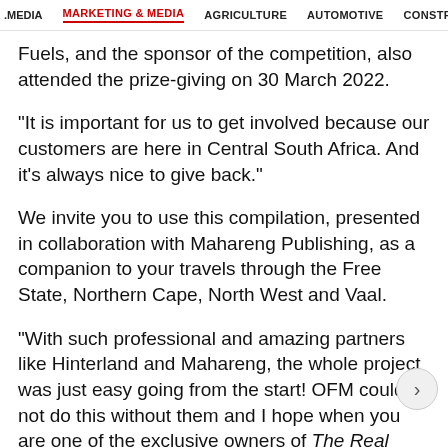.MEDIA   MARKETING & MEDIA   AGRICULTURE   AUTOMOTIVE   CONSTRU
Fuels, and the sponsor of the competition, also attended the prize-giving on 30 March 2022.
“It is important for us to get involved because our customers are here in Central South Africa. And it’s always nice to give back.”
We invite you to use this compilation, presented in collaboration with Mahareng Publishing, as a companion to your travels through the Free State, Northern Cape, North West and Vaal.
“With such professional and amazing partners like Hinterland and Mahareng, the whole project was just easy going from the start! OFM could not do this without them and I hope when you are one of the exclusive owners of The Real Good Travel Book, you will